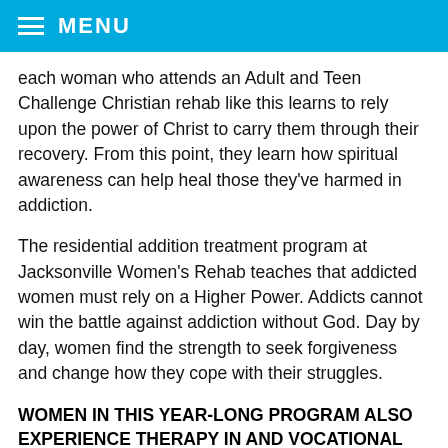MENU
each woman who attends an Adult and Teen Challenge Christian rehab like this learns to rely upon the power of Christ to carry them through their recovery. From this point, they learn how spiritual awareness can help heal those they've harmed in addiction.
The residential addition treatment program at Jacksonville Women's Rehab teaches that addicted women must rely on a Higher Power. Addicts cannot win the battle against addiction without God. Day by day, women find the strength to seek forgiveness and change how they cope with their struggles.
WOMEN IN THIS YEAR-LONG PROGRAM ALSO EXPERIENCE THERAPY IN AND VOCATIONAL HELP THROUGH GROUP AND INDIVIDUAL COUNSELING AT THE CHRISTIAN DRUG AND ALCOHOL REHAB.